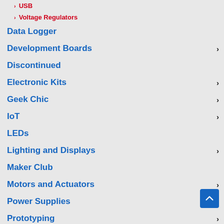USB
Voltage Regulators
Data Logger
Development Boards
Discontinued
Electronic Kits
Geek Chic
IoT
LEDs
Lighting and Displays
Maker Club
Motors and Actuators
Power Supplies
Prototyping
Raspberry Pi
Robotics
Sensors